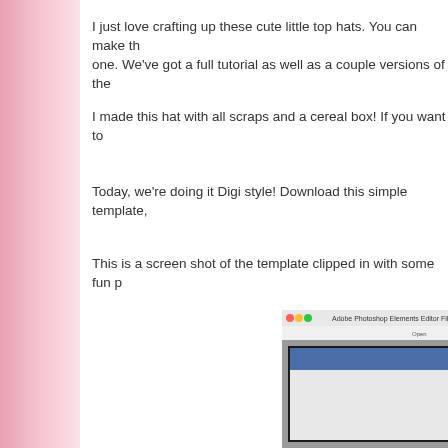I just love crafting up these cute little top hats.  You can make the one.  We've got a full tutorial as well as a couple versions of the
I made this hat with all scraps and a cereal box!  If you want to
Today, we're doing it Digi style!  Download this simple template,
This is a screen shot of the template clipped in with some fun p
[Figure (screenshot): Screenshot of Adobe Photoshop Elements Editor showing a hat template with a dark toolbar on the right side and blue header area visible in the canvas]